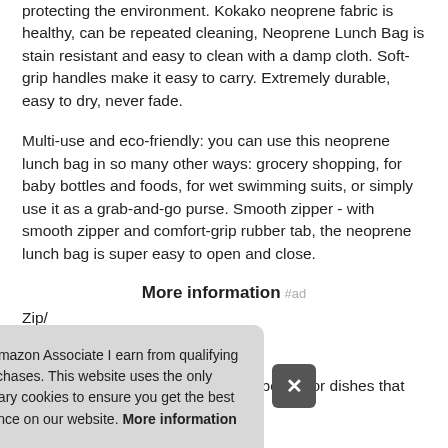protecting the environment. Kokako neoprene fabric is healthy, can be repeated cleaning, Neoprene Lunch Bag is stain resistant and easy to clean with a damp cloth. Soft-grip handles make it easy to carry. Extremely durable, easy to dry, never fade.
Multi-use and eco-friendly: you can use this neoprene lunch bag in so many other ways: grocery shopping, for baby bottles and foods, for wet swimming suits, or simply use it as a grab-and-go purse. Smooth zipper - with smooth zipper and comfort-grip rubber tab, the neoprene lunch bag is super easy to open and close.
More information #ad
Zip/... avai... you... bottom keeps it upright, perfect for bottles or dishes that you
As an Amazon Associate I earn from qualifying purchases. This website uses the only necessary cookies to ensure you get the best experience on our website. More information